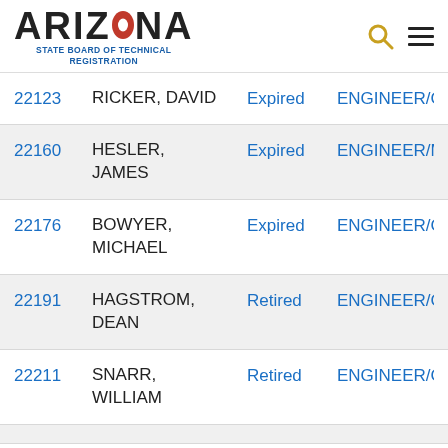ARIZONA STATE BOARD OF TECHNICAL REGISTRATION
| Number | Name | Status | Type |
| --- | --- | --- | --- |
| 22123 | RICKER, DAVID | Expired | ENGINEER/CI… |
| 22160 | HESLER, JAMES | Expired | ENGINEER/M… |
| 22176 | BOWYER, MICHAEL | Expired | ENGINEER/CI… |
| 22191 | HAGSTROM, DEAN | Retired | ENGINEER/CI… |
| 22211 | SNARR, WILLIAM | Retired | ENGINEER/CI… |